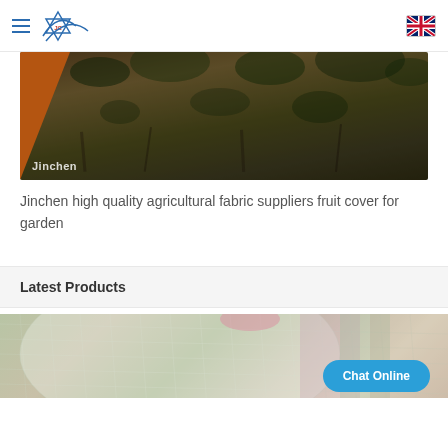Jinchen (JC) logo with hamburger menu and UK flag language selector
[Figure (photo): Outdoor garden/agricultural scene with dark soil and foliage, orange triangle on left edge, 'Jinchen' text overlay at bottom left]
Jinchen high quality agricultural fabric suppliers fruit cover for garden
Latest Products
[Figure (photo): Close-up of white agricultural mesh/netting fabric draped over plants in a garden setting, with colorful background]
Chat Online